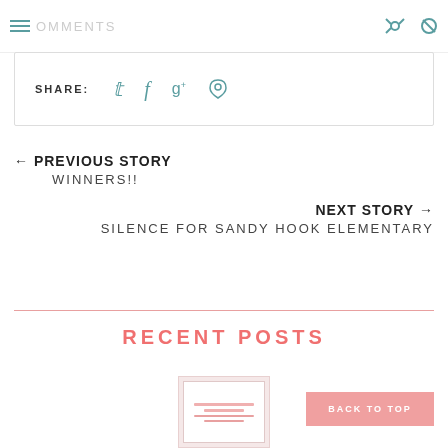COMMENTS
SHARE:
← PREVIOUS STORY
WINNERS!!
NEXT STORY →
SILENCE FOR SANDY HOOK ELEMENTARY
RECENT POSTS
BACK TO TOP
[Figure (photo): Thumbnail image of a recent blog post]